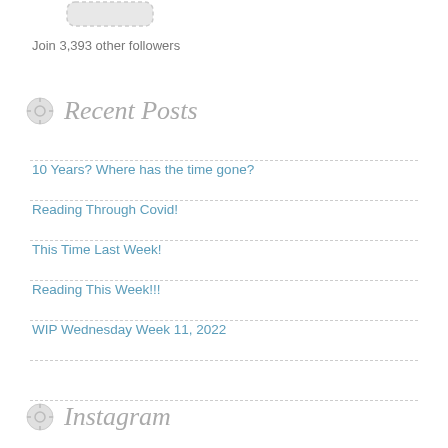[Figure (illustration): Rounded rectangle button/widget icon at top, grey with dashed border]
Join 3,393 other followers
Recent Posts
10 Years? Where has the time gone?
Reading Through Covid!
This Time Last Week!
Reading This Week!!!
WIP Wednesday Week 11, 2022
Instagram